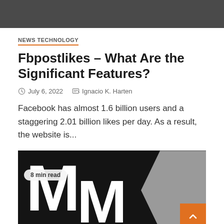NEWS TECHNOLOGY
Fbpostlikes – What Are the Significant Features?
July 6, 2022   Ignacio K. Harten
Facebook has almost 1.6 billion users and a staggering 2.01 billion likes per day. As a result, the website is...
[Figure (photo): Dark photo showing large white letter M shapes on a black background, with a grey chevron/arrow shape on the right. An '8 min read' pill badge is on the upper left. An orange back-to-top button with an upward chevron is in the lower right corner.]